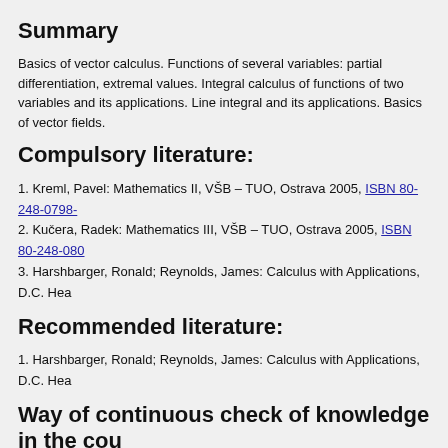Summary
Basics of vector calculus. Functions of several variables: partial differentiation, extremal values. Integral calculus of functions of two variables and its applications. Line integral and its applications. Basics of vector fields.
Compulsory literature:
1. Kreml, Pavel: Mathematics II, VŠB – TUO, Ostrava 2005, ISBN 80-248-0798-
2. Kučera, Radek: Mathematics III, VŠB – TUO, Ostrava 2005, ISBN 80-248-080
3. Harshbarger, Ronald; Reynolds, James: Calculus with Applications, D.C. Hea
Recommended literature:
1. Harshbarger, Ronald; Reynolds, James: Calculus with Applications, D.C. Hea
Way of continuous check of knowledge in the cou
Tests and credits
================
Exercises
----------
Conditions for obtaining credit points (CP):
  - participation in exercises, 20% can be to apologize
  - completion of three written tests, 0-15 CP